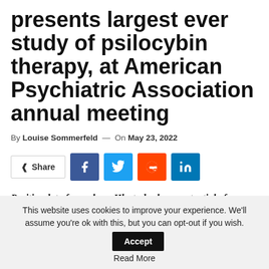presents largest ever study of psilocybin therapy, at American Psychiatric Association annual meeting
By Louise Sommerfeld — On May 23, 2022
[Figure (other): Social share buttons: Share, Facebook, Twitter, Reddit, LinkedIn]
Positive data from phase IIb study shows potential of COMP360 psilocybin therapy in treatment-resistant
This website uses cookies to improve your experience. We'll assume you're ok with this, but you can opt-out if you wish. Accept
Read More